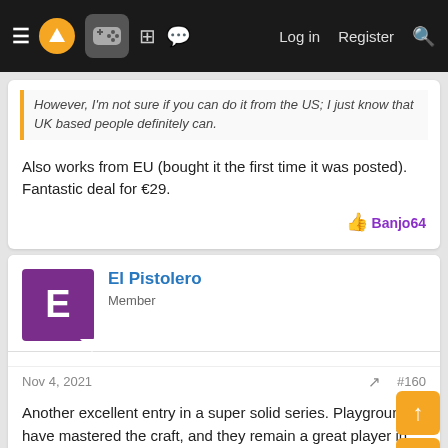Navigation bar with hamburger menu, logo, controller icon, grid icon, chat icon, Log in, Register, Search
However, I'm not sure if you can do it from the US; I just know that UK based people definitely can.
Also works from EU (bought it the first time it was posted). Fantastic deal for €29.
Banjo64
El Pistolero
Member
Nov 4, 2021  #160
Another excellent entry in a super solid series. Playground have mastered the craft, and they remain a great player in otherwise dying sub-genre (arcade racers). 👏👏👏👏